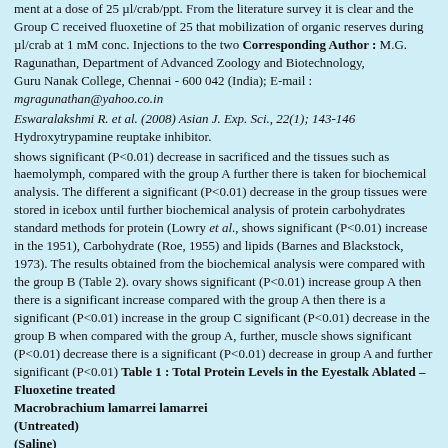ment at a dose of 25 µl/crab/ppt. From the literature survey it is clear and the Group C received fluoxetine of 25 that mobilization of organic reserves during µl/crab at 1 mM conc. Injections to the two Corresponding Author : M.G. Ragunathan, Department of Advanced Zoology and Biotechnology, Guru Nanak College, Chennai - 600 042 (India); E-mail : mgragunathan@yahoo.co.in
Eswaralakshmi R. et al. (2008) Asian J. Exp. Sci., 22(1); 143-146
Hydroxytrypamine reuptake inhibitor.
shows significant (P<0.01) decrease in sacrificed and the tissues such as haemolymph, compared with the group A further there is taken for biochemical analysis. The different a significant (P<0.01) decrease in the group tissues were stored in icebox until further biochemical analysis of protein carbohydrates standard methods for protein (Lowry et al., shows significant (P<0.01) increase in the 1951), Carbohydrate (Roe, 1955) and lipids (Barnes and Blackstock, 1973). The results obtained from the biochemical analysis were compared with the group B (Table 2). ovary shows significant (P<0.01) increase group A then there is a significant increase compared with the group A then there is a significant (P<0.01) increase in the group C significant (P<0.01) decrease in the group B when compared with the group A, further, muscle shows significant (P<0.01) decrease there is a significant (P<0.01) decrease in group A and further significant (P<0.01) Table 1 : Total Protein Levels in the Eyestalk Ablated – Fluoxetine treated Macrobrachium lamarrei lamarrei (Untreated) (Saline) (Fluoxetine)
Each value is mean ± SEM of 10 samples, expressed as mg/gm